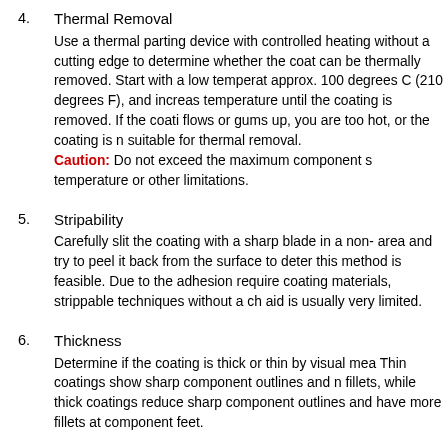4. Thermal Removal
Use a thermal parting device with controlled heating without a cutting edge to determine whether the coating can be thermally removed. Start with a low temperature approx. 100 degrees C (210 degrees F), and increase temperature until the coating is removed. If the coating flows or gums up, you are too hot, or the coating is not suitable for thermal removal.
Caution: Do not exceed the maximum component s temperature or other limitations.
5. Stripability
Carefully slit the coating with a sharp blade in a non-area and try to peel it back from the surface to determine this method is feasible. Due to the adhesion required coating materials, strippable techniques without a chemical aid is usually very limited.
6. Thickness
Determine if the coating is thick or thin by visual means. Thin coatings show sharp component outlines and no fillets, while thick coatings reduce sharp component outlines and have more fillets at component feet.